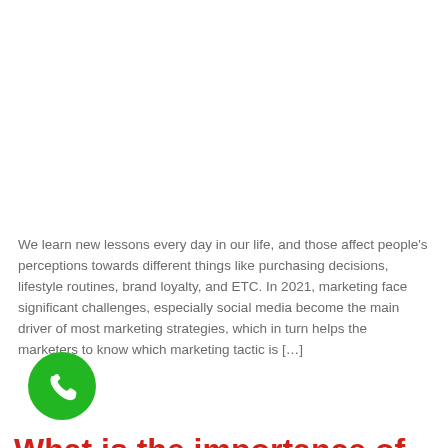We learn new lessons every day in our life, and those affect people's perceptions towards different things like purchasing decisions, lifestyle routines, brand loyalty, and ETC. In 2021, marketing face significant challenges, especially social media become the main driver of most marketing strategies, which in turn helps the marketers to know which marketing tactic is […]
What is the importance of brand reputation?
[Figure (other): Green circular phone/call button icon at bottom left]